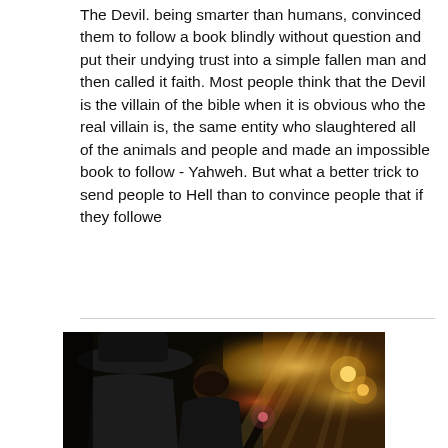The Devil. being smarter than humans, convinced them to follow a book blindly without question and put their undying trust into a simple fallen man and then called it faith. Most people think that the Devil is the villain of the bible when it is obvious who the real villain is, the same entity who slaughtered all of the animals and people and made an impossible book to follow - Yahweh. But what a better trick to send people to Hell than to convince people that if they followe
[Figure (photo): A dark concert or event scene showing two people from behind, one wearing a wide-brimmed hat, with bright stage lights and beams visible in the background.]